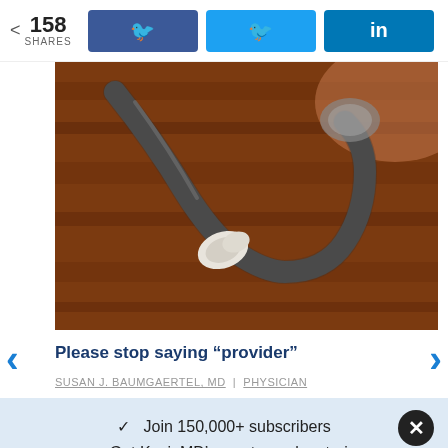158 SHARES | Facebook | Twitter | LinkedIn
[Figure (photo): Close-up photo of a stethoscope earpiece on a wooden surface]
Please stop saying “provider”
SUSAN J. BAUMGAERTEL, MD | PHYSICIAN
✓  Join 150,000+ subscribers
✓  Get KevinMD’s most popular stories
Email  Subscribe. It’s free.